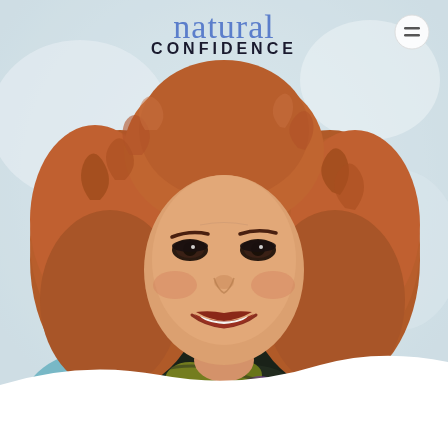natural CONFIDENCE
[Figure (photo): Professional headshot of a woman with voluminous auburn/red curly hair, smiling broadly, wearing a light blue blazer and a colorful dark floral scarf around her neck, photographed against a soft light background.]